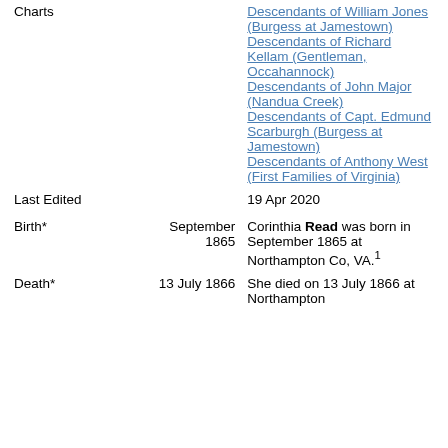| Field | Date | Details |
| --- | --- | --- |
| Charts |  | Descendants of William Jones (Burgess at Jamestown)
Descendants of Richard Kellam (Gentleman, Occahannock)
Descendants of John Major (Nandua Creek)
Descendants of Capt. Edmund Scarburgh (Burgess at Jamestown)
Descendants of Anthony West (First Families of Virginia) |
| Last Edited |  | 19 Apr 2020 |
| Birth* | September 1865 | Corinthia Read was born in September 1865 at Northampton Co, VA.[1] |
| Death* | 13 July 1866 | She died on 13 July 1866 at Northampton |